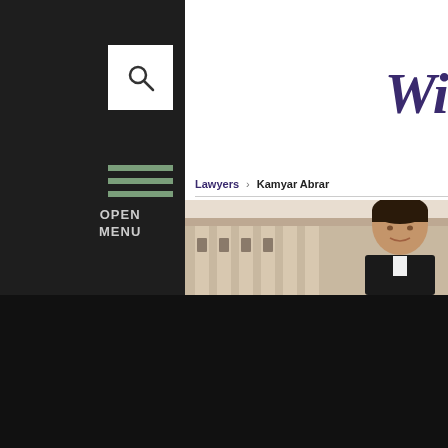[Figure (screenshot): Search icon in white box on dark sidebar]
OPEN
MENU
[Figure (photo): Lawyer profile photo of Kamyar Abrar in front of a classical building facade]
Lawyers > Kamyar Abrar
We use cookies to enhance your browsing experience. Please know that by continuing to explore our website, you consent to the use of cookies in accordance with our Privacy Policy.
Accept